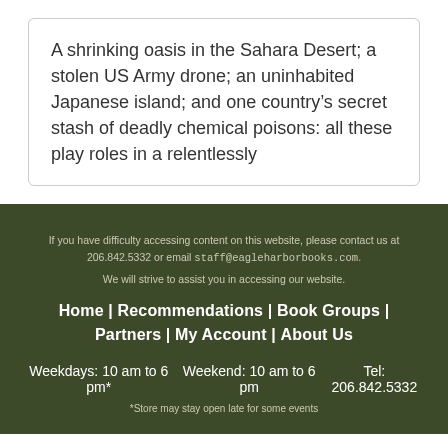A shrinking oasis in the Sahara Desert; a stolen US Army drone; an uninhabited Japanese island; and one country's secret stash of deadly chemical poisons: all these play roles in a relentlessly
If you have difficulty accessing content on this website, please contact us at 206.842.5332 or email staff@eagleharborbooks.com. We will strive to assist you in accessing our website. Home | Recommendations | Book Groups | Partners | My Account | About Us Weekdays: 10 am to 6 pm* Weekend: 10 am to 6 pm Tel: 206.842.5332 *Store may stay open late for some events